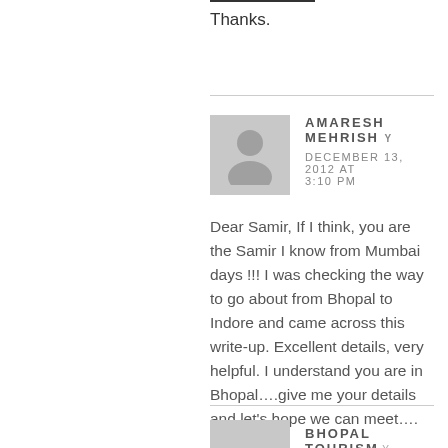Thanks.
AMARESH MEHRISH
DECEMBER 13, 2012 AT 3:10 PM
Dear Samir, If I think, you are the Samir I know from Mumbai days !!! I was checking the way to go about from Bhopal to Indore and came across this write-up. Excellent details, very helpful. I understand you are in Bhopal….give me your details and let’s hope we can meet….
BHOPAL TOURISM